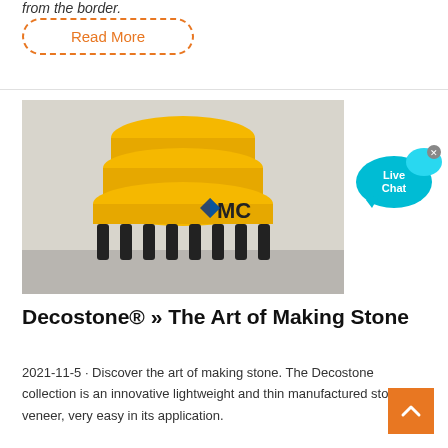from the border.
Read More
[Figure (photo): Large yellow industrial cone crusher machine with black springs at base, photographed in a warehouse setting. An MC logo is visible on the machine.]
[Figure (infographic): Live Chat button bubble in blue/cyan color with an x close button.]
Decostone® » The Art of Making Stone
2021-11-5 · Discover the art of making stone. The Decostone collection is an innovative lightweight and thin manufactured stone veneer, very easy in its application.